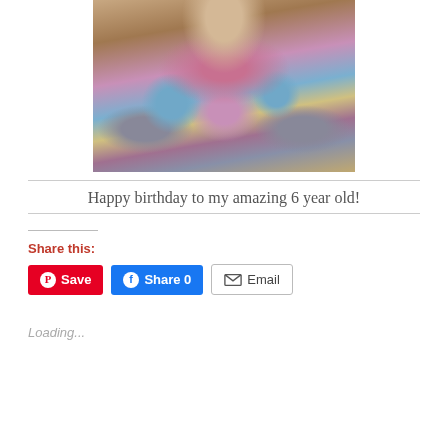[Figure (photo): Photo of a woman with long blonde hair wearing a colorful floral top with purple, blue, teal, and yellow flowers on a dark background, with grey cardigan sleeves visible on either side. Background is blurred with warm colors.]
Happy birthday to my amazing 6 year old!
Share this:
Save
Share 0
Email
Loading...